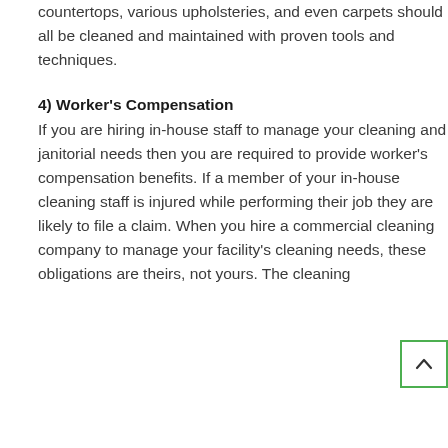countertops, various upholsteries, and even carpets should all be cleaned and maintained with proven tools and techniques.
4) Worker's Compensation
If you are hiring in-house staff to manage your cleaning and janitorial needs then you are required to provide worker's compensation benefits. If a member of your in-house cleaning staff is injured while performing their job they are likely to file a claim. When you hire a commercial cleaning company to manage your facility's cleaning needs, these obligations are theirs, not yours. The cleaning